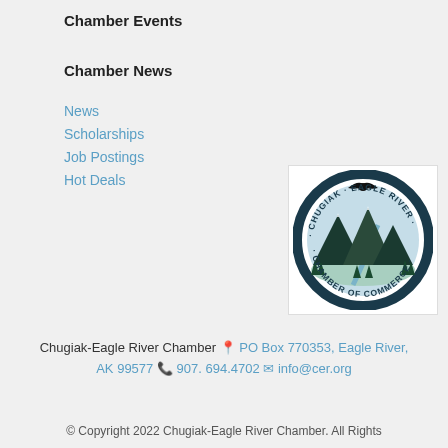Chamber Events
Chamber News
News
Scholarships
Job Postings
Hot Deals
[Figure (logo): Chugiak Eagle River Chamber of Commerce circular logo with eagle, mountains, river, and trees in teal/blue tones]
Chugiak-Eagle River Chamber  PO Box 770353, Eagle River, AK 99577  907. 694.4702  info@cer.org
© Copyright 2022 Chugiak-Eagle River Chamber. All Rights